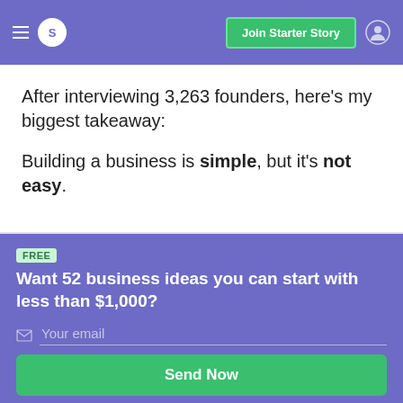S  Join Starter Story
After interviewing 3,263 founders, here's my biggest takeaway:
Building a business is simple, but it's not easy.
FREE
Want 52 business ideas you can start with less than $1,000?
Your email
Send Now